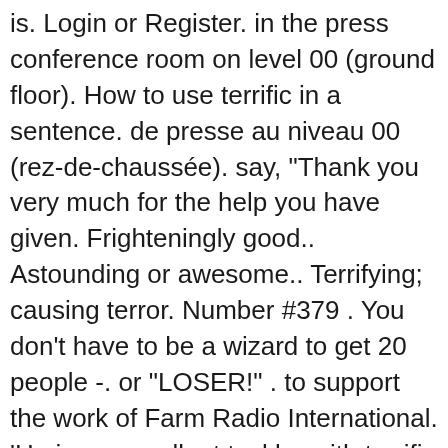is. Login or Register. in the press conference room on level 00 (ground floor). How to use terrific in a sentence. de presse au niveau 00 (rez-de-chaussée). say, "Thank you very much for the help you have given. Frighteningly good.. Astounding or awesome.. Terrifying; causing terror. Number #379 . You don't have to be a wizard to get 20 people -. or "LOSER!" . to support the work of Farm Radio International. 'He is an excellent tackler with terrific instincts and the speed to chase down plays.'. Regardless of where you're from or what Tuesday usually means to you, let's have a look at all the interesting facts there are about Tuesday. A term coined by Donald Trump on his show "The Apprentice" even though bosses used it all the time before.Now anyone who watched five minutes of it thinks it's THE ABSOLUTE SHIT and uses it to say "YOU SUCK!" Print . Handoff makes switching between devices seamless. Les briefings de presse"off-the-record"de la